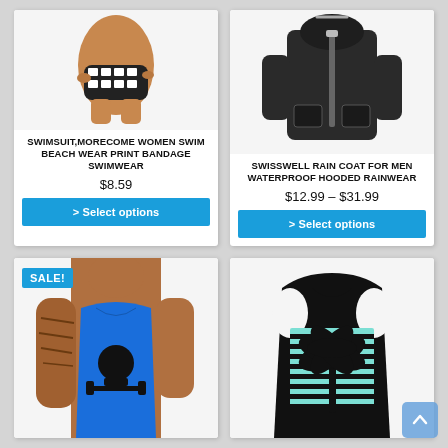[Figure (photo): Woman wearing black and white print bikini bottom, cropped torso shot]
SWIMSUIT,MORECOME WOMEN SWIM BEACH WEAR PRINT BANDAGE SWIMWEAR
$8.59
> Select options
[Figure (photo): Black hooded waterproof rain jacket for men, full length front view]
SWISSWELL RAIN COAT FOR MEN WATERPROOF HOODED RAINWEAR
$12.99 – $31.99
> Select options
[Figure (photo): Muscular man wearing blue tank top with 'No Pain No Gain' skull barbell graphic, tattooed arms, SALE badge overlay]
[Figure (photo): Black tank top with mint green horizontal stripes and palm tree graphic]